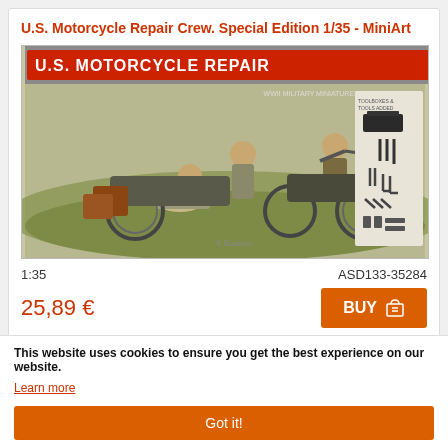U.S. Motorcycle Repair Crew. Special Edition 1/35 - MiniArt
[Figure (photo): Box art illustration of U.S. Motorcycle Repair Crew model kit showing soldiers repairing motorcycles with tools accessories inset. MiniArt WWII Military Miniatures Series 1/35 scale.]
1:35
ASD133-35284
25,89 €
BUY
This website uses cookies to ensure you get the best experience on our website.
Learn more
Got it!